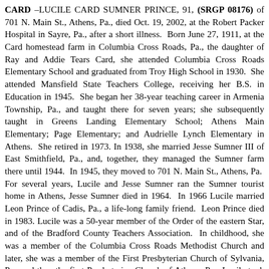CARD –LUCILE CARD SUMNER PRINCE, 91, (SRGP 08176) of 701 N. Main St., Athens, Pa., died Oct. 19, 2002, at the Robert Packer Hospital in Sayre, Pa., after a short illness. Born June 27, 1911, at the Card homestead farm in Columbia Cross Roads, Pa., the daughter of Ray and Addie Tears Card, she attended Columbia Cross Roads Elementary School and graduated from Troy High School in 1930. She attended Mansfield State Teachers College, receiving her B.S. in Education in 1945. She began her 38-year teaching career in Armenia Township, Pa., and taught there for seven years; she subsequently taught in Greens Landing Elementary School; Athens Main Elementary; Page Elementary; and Audrielle Lynch Elementary in Athens. She retired in 1973. In 1938, she married Jesse Sumner III of East Smithfield, Pa., and, together, they managed the Sumner farm there until 1944. In 1945, they moved to 701 N. Main St., Athens, Pa. For several years, Lucile and Jesse Sumner ran the Sumner tourist home in Athens, Jesse Sumner died in 1964. In 1966 Lucile married Leon Prince of Cadis, Pa., a life-long family friend. Leon Prince died in 1983. Lucile was a 50-year member of the Order of the eastern Star, and of the Bradford County Teachers Association. In childhood, she was a member of the Columbia Cross Roads Methodist Church and later, she was a member of the First Presbyterian Church of Sylvania, Pa., and then the first Presbyterian Church of Athens, Pa. Lucile took special joy and great pride in her home. She and Jesse restored the house and grounds of the Sumner Farm in E.